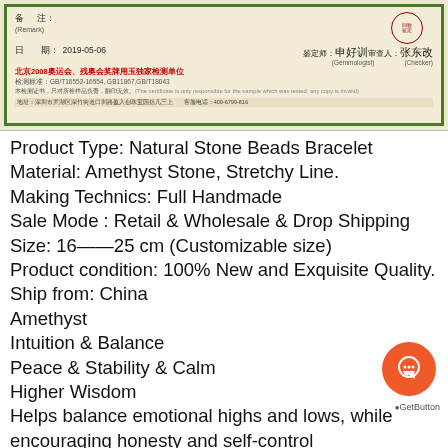[Figure (photo): Chinese gemological certificate with red seal, signatures, date 2019-05-06, red text for Beijing 2008 Olympics units, green ornamental border]
Product Type: Natural Stone Beads Bracelet
Material: Amethyst Stone, Stretchy Line.
Making Technics: Full Handmade
Sale Mode : Retail & Wholesale & Drop Shipping
Size: 16——25 cm (Customizable size)
Product condition: 100% New and Exquisite Quality.
Ship from: China
Amethyst
Intuition & Balance
Peace & Stability & Calm
Higher Wisdom
Helps balance emotional highs and lows, while encouraging honesty and self-control
For recovery, control and ownership of own power and destiny